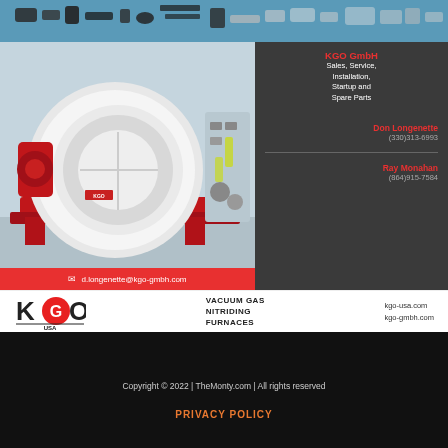[Figure (photo): Top banner showing metal parts and tools on blue background]
[Figure (photo): KGO GmbH advertisement featuring a large red and white vacuum gas nitriding furnace. Right panel (dark background) shows company info: KGO GmbH, Sales, Service, Installation, Startup and Spare Parts. Contacts: Don Longenette (330)313-6993 and Ray Monahan (864)915-7584. Red email bar at bottom: d.longenette@kgo-gmbh.com]
VACUUM GAS NITRIDING FURNACES
kgo-usa.com
kgo-gmbh.com
Copyright © 2022 | TheMonty.com | All rights reserved
PRIVACY POLICY